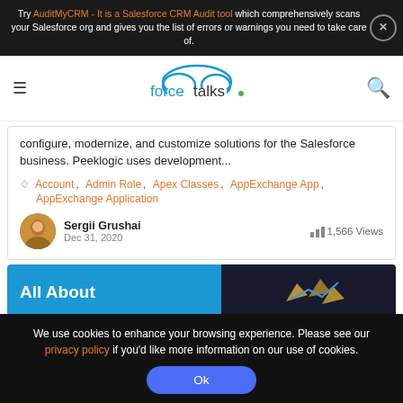Try AuditMyCRM - It is a Salesforce CRM Audit tool which comprehensively scans your Salesforce org and gives you the list of errors or warnings you need to take care of.
[Figure (logo): forcetalks. logo with cloud icon]
configure, modernize, and customize solutions for the Salesforce business. Peeklogic uses development...
Account, Admin Role, Apex Classes, AppExchange App, AppExchange Application
Sergii Grushai
Dec 31, 2020
1,566 Views
All About
We use cookies to enhance your browsing experience. Please see our privacy policy if you'd like more information on our use of cookies.